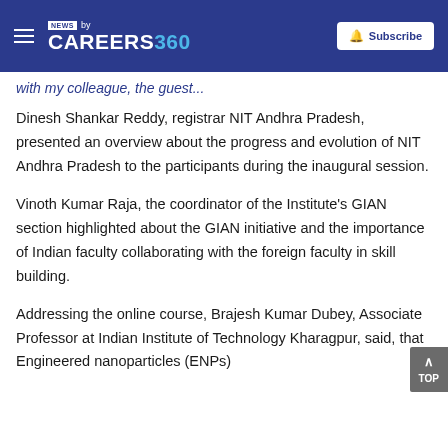NEWS by CAREERS360 | Subscribe
with my colleague, the guest...
Dinesh Shankar Reddy, registrar NIT Andhra Pradesh, presented an overview about the progress and evolution of NIT Andhra Pradesh to the participants during the inaugural session.
Vinoth Kumar Raja, the coordinator of the Institute's GIAN section highlighted about the GIAN initiative and the importance of Indian faculty collaborating with the foreign faculty in skill building.
Addressing the online course, Brajesh Kumar Dubey, Associate Professor at Indian Institute of Technology Kharagpur, said, that Engineered nanoparticles (ENPs) have from the...